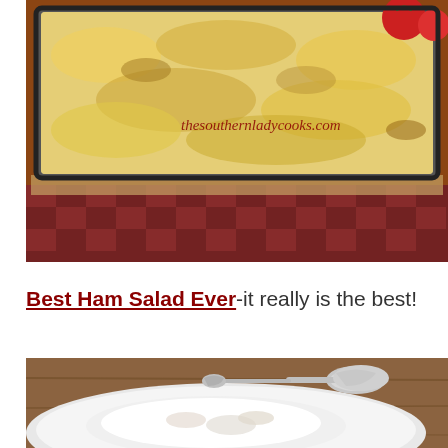[Figure (photo): A glass baking dish filled with a cheesy casserole dish topped with melted cheese, sitting on a red and white checked tablecloth with tomatoes in the background. The watermark 'thesouthernladycooks.com' appears in dark red italic text across the middle of the image.]
Best Ham Salad Ever-it really is the best!
[Figure (photo): A plate with what appears to be a white creamy ham salad or similar dish, with an ornate silver spoon resting on the plate, on a wooden table surface. The image is partially cut off at the bottom.]